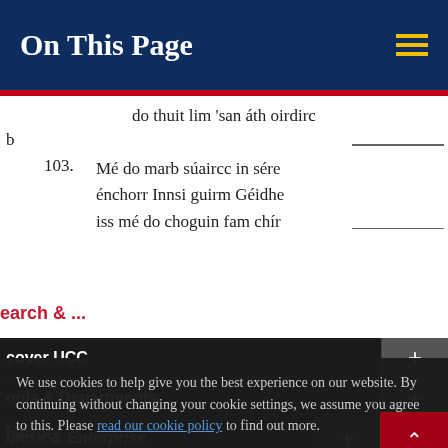On This Page
do thuit lim 'san áth oirdirc
by
103. Mé do marb súaircc in sére énchorr Innsi guirm Géidhe iss mé do choguin fam chír
earch & ...
Discover UCC
Schools & Departments
We use cookies to help give you the best experience on our website. By continuing without changing your cookie settings, we assume you agree to this. Please read our cookie policy to find out more.
Business & Enterprise
Alumni & Development
Close
Home